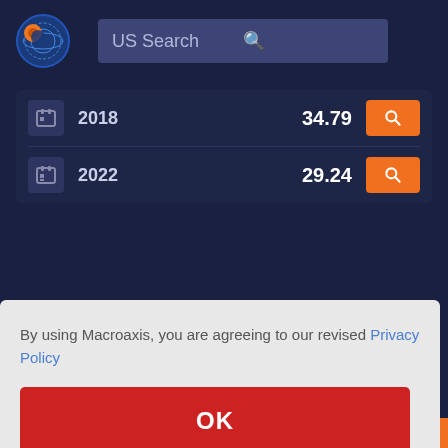[Figure (logo): Macroaxis globe logo with orange and blue colors]
US Search
|  | Year | Value | Action |
| --- | --- | --- | --- |
| [icon] | 2018 | 34.79 | [search] |
| [icon] | 2022 | 29.24 | [search] |
By using Macroaxis, you are agreeing to our revised Privacy Policy
OK
Book Value per Share, to determine how well the company